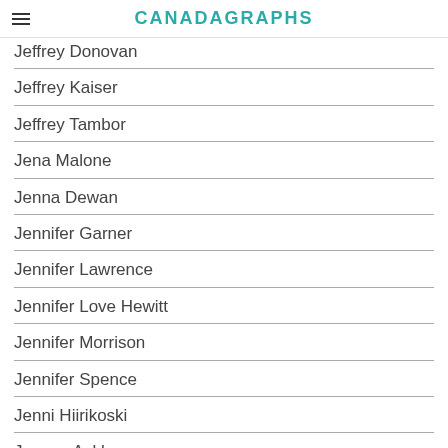CANADAGRAPHS
Jeffrey Donovan
Jeffrey Kaiser
Jeffrey Tambor
Jena Malone
Jenna Dewan
Jennifer Garner
Jennifer Lawrence
Jennifer Love Hewitt
Jennifer Morrison
Jennifer Spence
Jenni Hiirikoski
Jensen Ackles
Jensen Ackles Impersonator
Jensen Ackles With A Beard
Jerad Anderson